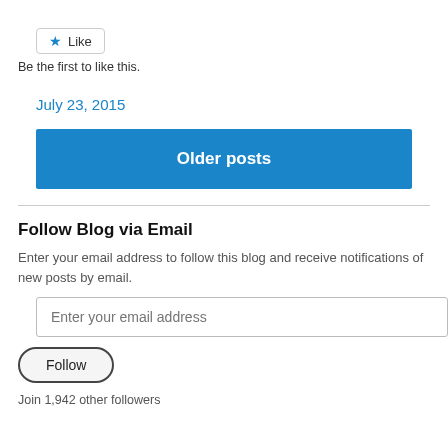[Figure (other): Like button with star icon and text 'Like']
Be the first to like this.
July 23, 2015
Older posts
Follow Blog via Email
Enter your email address to follow this blog and receive notifications of new posts by email.
[Figure (other): Email input field with placeholder 'Enter your email address']
[Figure (other): Follow button]
Join 1,942 other followers